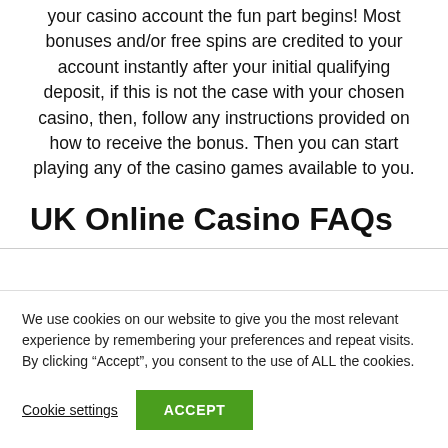your casino account the fun part begins! Most bonuses and/or free spins are credited to your account instantly after your initial qualifying deposit, if this is not the case with your chosen casino, then, follow any instructions provided on how to receive the bonus. Then you can start playing any of the casino games available to you.
UK Online Casino FAQs
We use cookies on our website to give you the most relevant experience by remembering your preferences and repeat visits. By clicking “Accept”, you consent to the use of ALL the cookies.